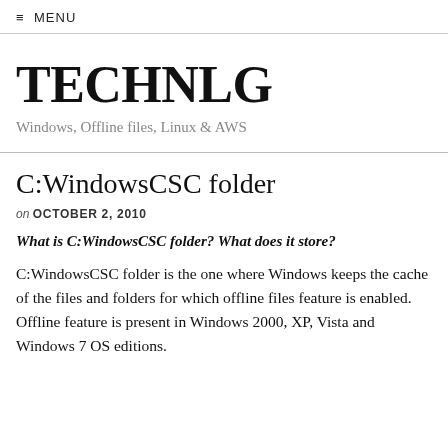≡ MENU
TECHNLG
Windows, Offline files, Linux & AWS
C:WindowsCSC folder
on OCTOBER 2, 2010
What is C:WindowsCSC folder? What does it store?
C:WindowsCSC folder is the one where Windows keeps the cache of the files and folders for which offline files feature is enabled. Offline feature is present in Windows 2000, XP, Vista and Windows 7 OS editions.